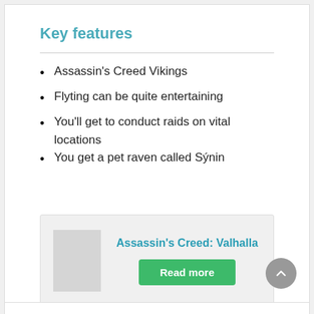Key features
Assassin’s Creed Vikings
Flyting can be quite entertaining
You’ll get to conduct raids on vital locations
You get a pet raven called Sýnin
Assassin’s Creed: Valhalla
Read more